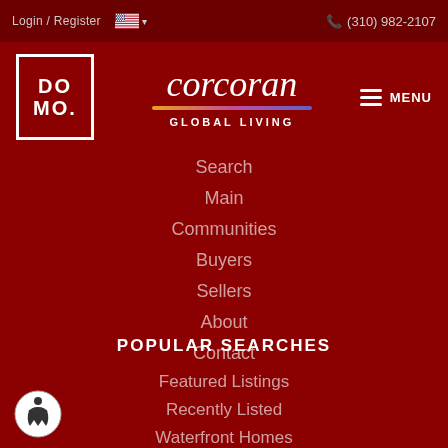Login / Register  🇺🇸 ▾   📞 (310) 982-2107
[Figure (logo): DOMO logo - white square border with DO MO text]
[Figure (logo): Corcoran Global Living logo - italic script with gradient underline]
Search
Main
Communities
Buyers
Sellers
About
Contact
POPULAR SEARCHES
Featured Listings
Recently Listed
Waterfront Homes
New Construction